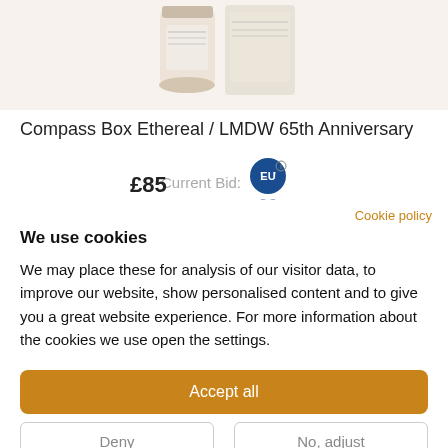[Figure (photo): Product photo of Compass Box Ethereal / LMDW 65th Anniversary whisky bottles on a white background]
Compass Box Ethereal / LMDW 65th Anniversary
Current Bid: £85
Cookie policy
We use cookies
We may place these for analysis of our visitor data, to improve our website, show personalised content and to give you a great website experience. For more information about the cookies we use open the settings.
Accept all
Deny
No, adjust